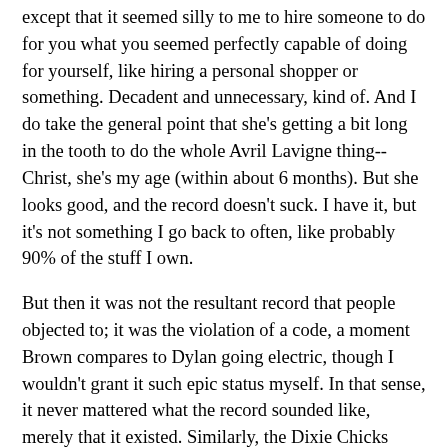except that it seemed silly to me to hire someone to do for you what you seemed perfectly capable of doing for yourself, like hiring a personal shopper or something. Decadent and unnecessary, kind of. And I do take the general point that she's getting a bit long in the tooth to do the whole Avril Lavigne thing--Christ, she's my age (within about 6 months). But she looks good, and the record doesn't suck. I have it, but it's not something I go back to often, like probably 90% of the stuff I own.
But then it was not the resultant record that people objected to; it was the violation of a code, a moment Brown compares to Dylan going electric, though I wouldn't grant it such epic status myself. In that sense, it never mattered what the record sounded like, merely that it existed. Similarly, the Dixie Chicks violated an idea (or ideal)--and paid the price.
The inequity here is that the Dixie Chicks' transgression seems to have paid off, while Phair's hasn't, at least not to the satisfaction of her (now major) label. This is getting long, but I want to propose one other thing that Brown, I think, leaves out: the idea of cultural capital. According to Pierro